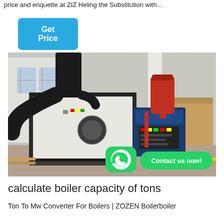price and enquette at ZIZ Heling the Substitution with...
Get Price
[Figure (photo): Industrial boiler equipment in a factory/warehouse setting. A large white rectangular boiler with a black exhaust duct on the left side and a blue burner unit with a red cylindrical tank on the right. Additional boiler equipment visible in the background. WhatsApp icon and 'Contact us now!' green button overlay visible in the lower right area of the image.]
calculate boiler capacity of tons
Ton To Mw Converter For Boilers | ZOZEN Boilerboiler